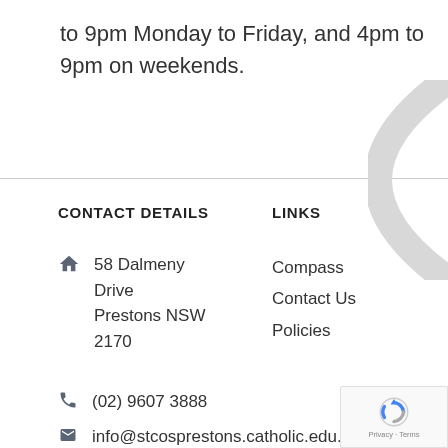to 9pm Monday to Friday, and 4pm to 9pm on weekends.
CONTACT DETAILS
LINKS
58 Dalmeny Drive Prestons NSW 2170
Compass
Contact Us
Policies
(02) 9607 3888
info@stcosprestons.catholic.edu.au